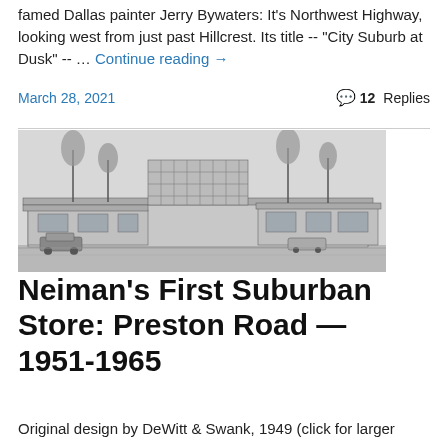famed Dallas painter Jerry Bywaters: It's Northwest Highway, looking west from just past Hillcrest. Its title -- "City Suburb at Dusk" -- … Continue reading →
March 28, 2021   💬 12 Replies
[Figure (illustration): Architectural rendering of a mid-century modern building, likely a retail store (Neiman Marcus), drawn in black and white pencil/ink style. Shows a low horizontal structure with large windows, a tall grid-facade tower section, trees, and cars in the foreground parking area.]
Neiman's First Suburban Store: Preston Road — 1951-1965
Original design by DeWitt & Swank, 1949 (click for larger